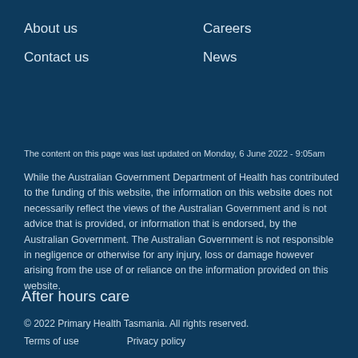About us
Careers
Contact us
News
The content on this page was last updated on Monday, 6 June 2022 - 9:05am
While the Australian Government Department of Health has contributed to the funding of this website, the information on this website does not necessarily reflect the views of the Australian Government and is not advice that is provided, or information that is endorsed, by the Australian Government. The Australian Government is not responsible in negligence or otherwise for any injury, loss or damage however arising from the use of or reliance on the information provided on this website.
After hours care
© 2022 Primary Health Tasmania. All rights reserved.
Terms of use   Privacy policy